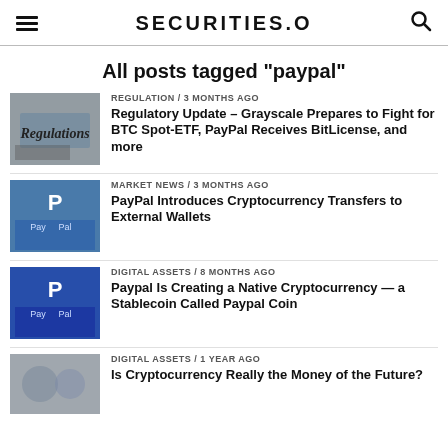SECURITIES.O
All posts tagged "paypal"
REGULATION / 3 months ago — Regulatory Update – Grayscale Prepares to Fight for BTC Spot-ETF, PayPal Receives BitLicense, and more
MARKET NEWS / 3 months ago — PayPal Introduces Cryptocurrency Transfers to External Wallets
DIGITAL ASSETS / 8 months ago — Paypal Is Creating a Native Cryptocurrency — a Stablecoin Called Paypal Coin
DIGITAL ASSETS / 1 year ago — Is Cryptocurrency Really the Money of the Future?